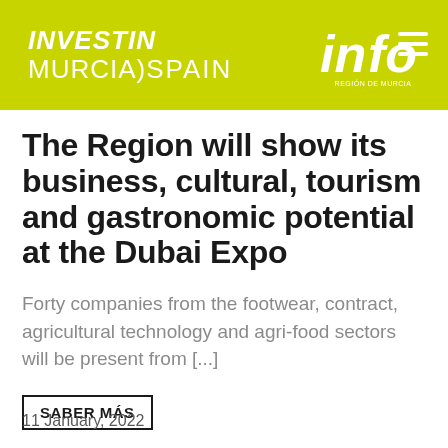INVEST IN MURCIA SPAIN
The Region will show its business, cultural, tourism and gastronomic potential at the Dubai Expo
Forty companies from the footwear, contract, agricultural technology and agri-food sectors will be present from [...]
SABER MÁS
11 January, 2022